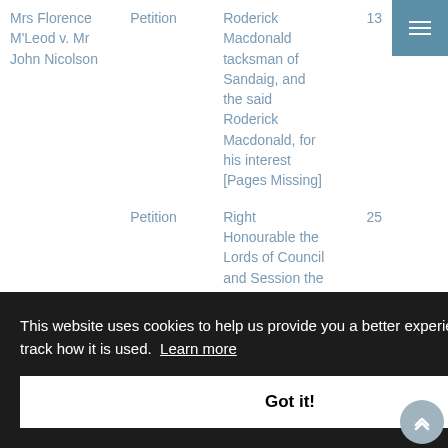| Case | Type | Description | Number |
| --- | --- | --- | --- |
| Mrs Florence M'Leod v. Mr John Nicolson | Petition | Roderick Macdonald tacksman of Sandaig, and the said Roderick Macdonald, for his interest [Pages Missing] | 13 |
|  | Petition | Right Honourable the Lords of Council and Session the petition of ... | 25 |
This website uses cookies to help us provide you a better experience and to track how it is used. Learn more
Got it!